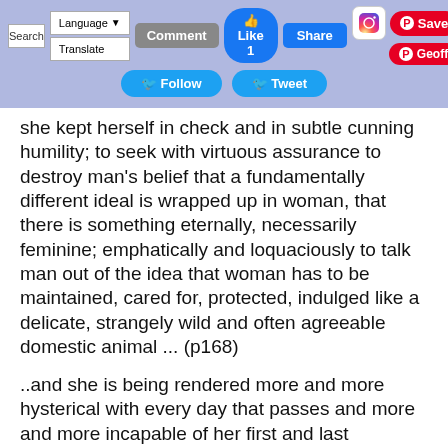Search | Language Translate | Comment | Like 1 | Share | [Instagram] | Save | Geoff | Follow | Tweet
she kept herself in check and in subtle cunning humility; to seek with virtuous assurance to destroy man's belief that a fundamentally different ideal is wrapped up in woman, that there is something eternally, necessarily feminine; emphatically and loquaciously to talk man out of the idea that woman has to be maintained, cared for, protected, indulged like a delicate, strangely wild and often agreeable domestic animal ... (p168)
..and she is being rendered more and more hysterical with every day that passes and more and more incapable of her first and last profession, which is to bear strong children. (p168)
That in woman which inspires respect and fundamentally fear is